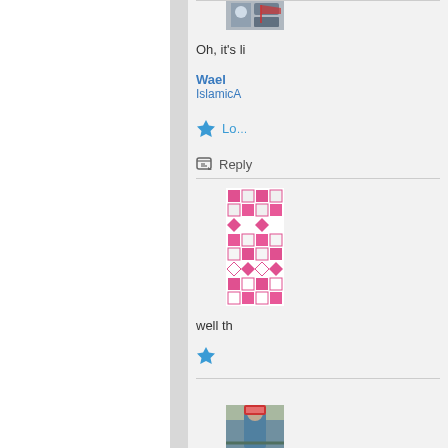[Figure (screenshot): Cropped screenshot of a blog/forum comment section showing user avatars, comment text, star/like buttons, and reply links on a light gray background. Left two-thirds is white (page content area), with a gray divider, and the right side shows the comment sidebar.]
Oh, it's li
Wael
IslamicA
Loa
Reply
well th
[Figure (photo): User avatar: pink/white geometric mosaic pattern square avatar image]
[Figure (photo): User avatar at bottom: person in outdoor scene, partially visible]